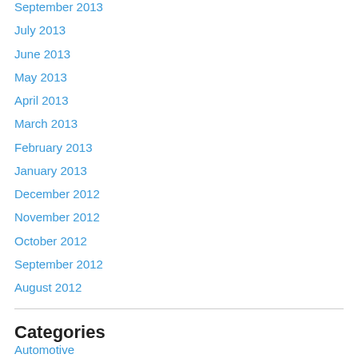September 2013
July 2013
June 2013
May 2013
April 2013
March 2013
February 2013
January 2013
December 2012
November 2012
October 2012
September 2012
August 2012
Categories
Automotive
Blog
Branding